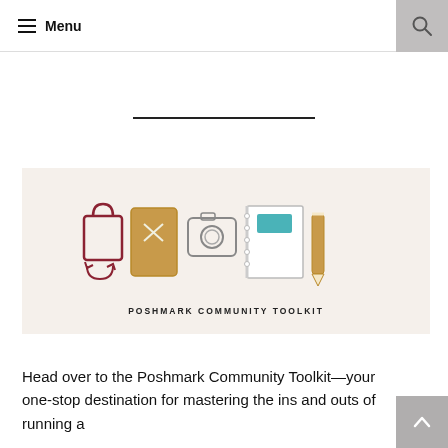≡ Menu
[Figure (illustration): Poshmark Community Toolkit banner image showing illustrated icons: a shopping bag, a phone/tablet, a camera, a notebook with teal label, and a pencil, arranged in a row on a beige background with the text POSHMARK COMMUNITY TOOLKIT below.]
Head over to the Poshmark Community Toolkit—your one-stop destination for mastering the ins and outs of running a